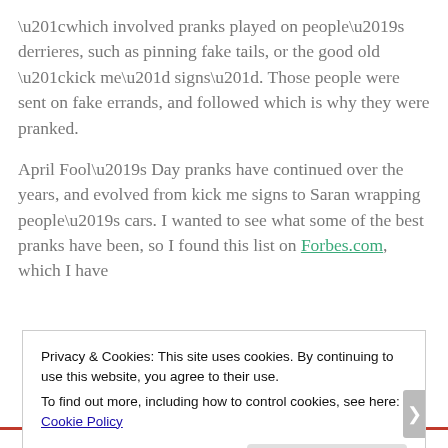“which involved pranks played on people’s derrieres, such as pinning fake tails, or the good old “kick me” signs”. Those people were sent on fake errands, and followed which is why they were pranked.
April Fool’s Day pranks have continued over the years, and evolved from kick me signs to Saran wrapping people’s cars. I wanted to see what some of the best pranks have been, so I found this list on Forbes.com, which I have
Privacy & Cookies: This site uses cookies. By continuing to use this website, you agree to their use.
To find out more, including how to control cookies, see here: Cookie Policy